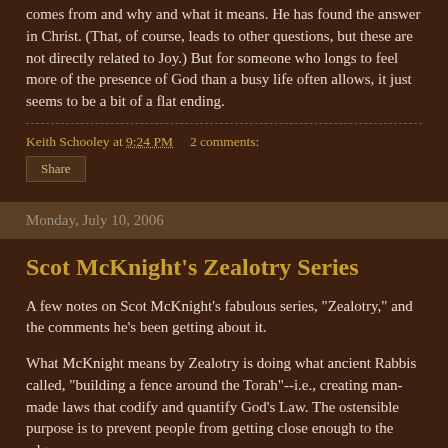comes from and why and what it means. He has found the answer in Christ. (That, of course, leads to other questions, but these are not directly related to Joy.) But for someone who longs to feel more of the presence of God than a busy life often allows, it just seems to be a bit of a flat ending.
Keith Schooley at 9:24 PM    2 comments:
Share
Monday, July 10, 2006
Scot McKnight's Zealotry Series
A few notes on Scot McKnight's fabulous series, "Zealotry," and the comments he's been getting about it.
What McKnight means by Zealotry is doing what ancient Rabbis called, "building a fence around the Torah"--i.e., creating man-made laws that codify and quantify God's Law. The ostensible purpose is to prevent people from getting close enough to the edge to actually sin, thus obviating fear of going beyond def of the